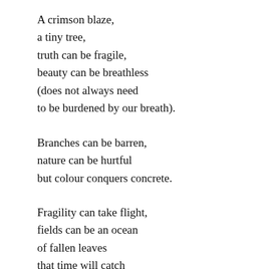A crimson blaze,
a tiny tree,
truth can be fragile,
beauty can be breathless
(does not always need
to be burdened by our breath).

Branches can be barren,
nature can be hurtful
but colour conquers concrete.

Fragility can take flight,
fields can be an ocean
of fallen leaves
that time will catch
and crispen
and crispen from our rest